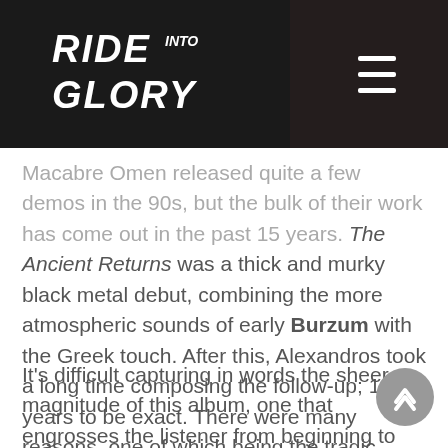Ride Into Glory
Macabre Omen released quite a few demos in the 90s, but the bulk of their work has come out in the past 15 years. The Ancient Returns was a thick and murky black metal debut, combining the more atmospheric sounds of early Burzum with the Greek touch. After this, Alexandros took a long time composing the follow-up; 10 years to be exact. There were many reasons, one of which being the tragic passing of his father in 2011. This led to many rewriting sessions, eventually culminating with the release of Gods of War – At War.
It's difficult capturing in words the sheer magnitude of this album, one that engrosses the listener from beginning to end. Gods of War is not just any regular